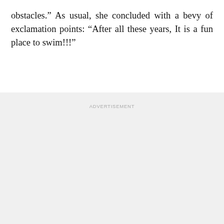obstacles.” As usual, she concluded with a bevy of exclamation points: “After all these years, It is a fun place to swim!!!”
ADVERTISEMENT